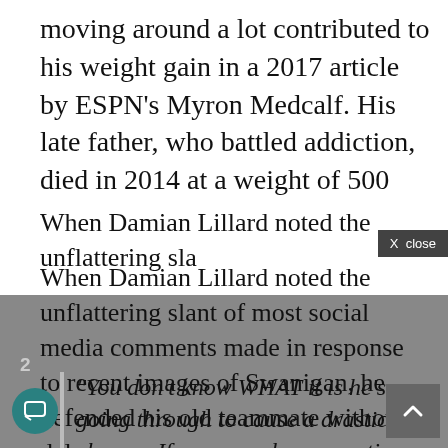moving around a lot contributed to his weight gain in a 2017 article by ESPN's Myron Medcalf. His late father, who battled addiction, died in 2014 at a weight of 500 pounds.
When Damian Lillard noted the unflattering slant of most social media comments made in response to recent images of Swanigan, he defended his old teammate without delay.
“You don’t know WHAT it is he’s going through to cause a drastic change. If you gone be supportive then do that but don’t ask no shit like that like it’s not possible when